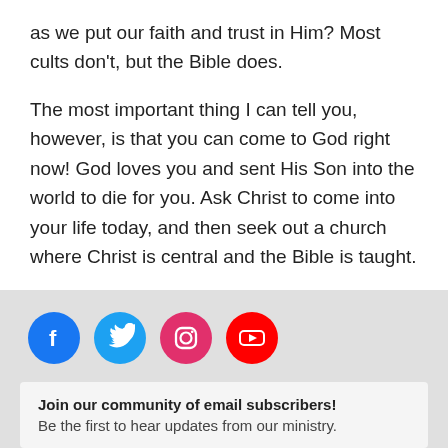as we put our faith and trust in Him? Most cults don't, but the Bible does.

The most important thing I can tell you, however, is that you can come to God right now! God loves you and sent His Son into the world to die for you. Ask Christ to come into your life today, and then seek out a church where Christ is central and the Bible is taught.
[Figure (infographic): Social media icons row: Facebook (blue circle), Twitter (blue circle), Instagram (pink/red circle), YouTube (red circle)]
Join our community of email subscribers! Be the first to hear updates from our ministry.